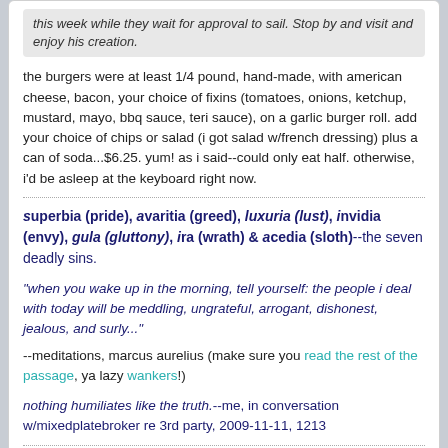this week while they wait for approval to sail. Stop by and visit and enjoy his creation.
the burgers were at least 1/4 pound, hand-made, with american cheese, bacon, your choice of fixins (tomatoes, onions, ketchup, mustard, mayo, bbq sauce, teri sauce), on a garlic burger roll. add your choice of chips or salad (i got salad w/french dressing) plus a can of soda...$6.25. yum! as i said--could only eat half. otherwise, i'd be asleep at the keyboard right now.
superbia (pride), avaritia (greed), luxuria (lust), invidia (envy), gula (gluttony), ira (wrath) & acedia (sloth)--the seven deadly sins.
"when you wake up in the morning, tell yourself: the people i deal with today will be meddling, ungrateful, arrogant, dishonest, jealous, and surly..."--meditations, marcus aurelius (make sure you read the rest of the passage, ya lazy wankers!)
nothing humiliates like the truth.--me, in conversation w/mixedplatebroker re 3rd party, 2009-11-11, 1213
EastCoastTropics
Kumu